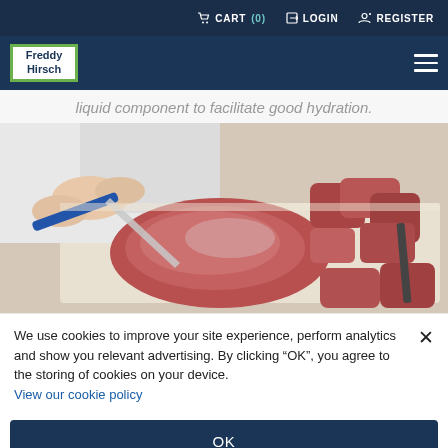CART (0)  LOGIN  REGISTER
[Figure (logo): Freddy Hirsch company logo — white text on dark blue background with green border]
liquid component to facilitate good hydration.
[Figure (photo): A butcher's hands cutting and trimming raw red meat on a white cutting board, with chunks of meat visible in the background]
We use cookies to improve your site experience, perform analytics and show you relevant advertising. By clicking “OK”, you agree to the storing of cookies on your device. View our cookie policy
OK